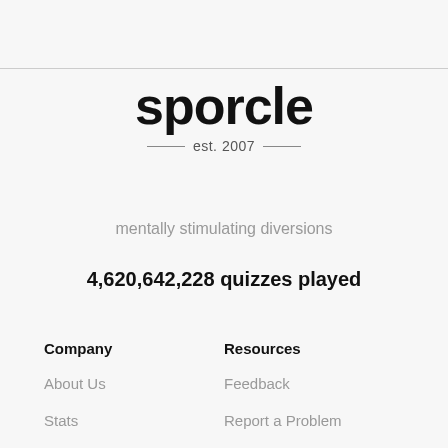sporcle
est. 2007
mentally stimulating diversions
4,620,642,228 quizzes played
Company
Resources
About Us
Feedback
Stats
Report a Problem
Jobs
FAQ